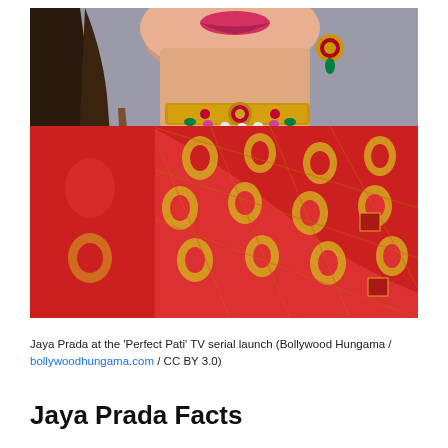[Figure (photo): Close-up photo of Jaya Prada wearing a red ornate saree with gold floral patterns, gold choker necklace with colored gemstones, and decorative earrings with red and green stones. She has long wavy dark brown hair with highlights and is wearing pink/red lipstick.]
Jaya Prada at the 'Perfect Pati' TV serial launch (Bollywood Hungama / bollywoodhungama.com / CC BY 3.0)
Jaya Prada Facts